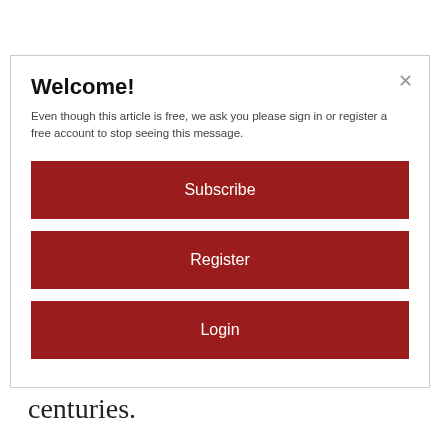Welcome!
Even though this article is free, we ask you please sign in or register a free account to stop seeing this message.
Subscribe
Register
Login
Hawai'i Creeper, even though the Hawaiian names predate the English ones by centuries.